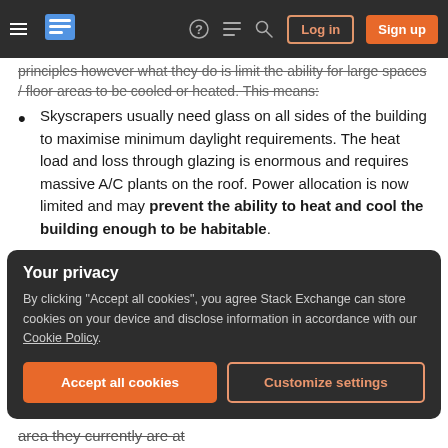Stack Exchange navigation bar with hamburger menu, logo, help, chat, search, Log in, Sign up buttons
principles however what they do is limit the ability for large spaces / floor areas to be cooled or heated. This means:
Skyscrapers usually need glass on all sides of the building to maximise minimum daylight requirements. The heat load and loss through glazing is enormous and requires massive A/C plants on the roof. Power allocation is now limited and may prevent the ability to heat and cool the building enough to be habitable.
Your privacy
By clicking "Accept all cookies", you agree Stack Exchange can store cookies on your device and disclose information in accordance with our Cookie Policy.
Accept all cookies | Customize settings
area they currently are at